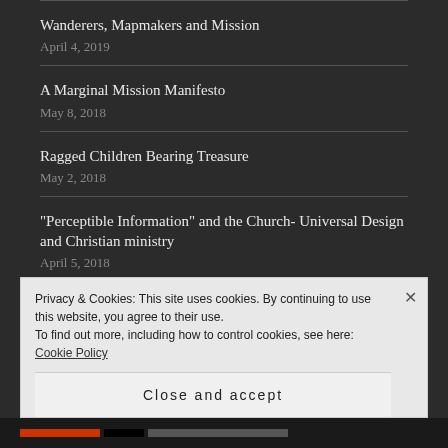Wanderers, Mapmakers and Mission
April 4, 2019
A Marginal Mission Manifesto
May 8, 2018
Ragged Children Bearing Treasure
May 2, 2018
“Perceptible Information” and the Church- Universal Design and Christian ministry
April 5, 2018
“Simple and intuitive use” and the Church | Universal Design and Christian ministry
Privacy & Cookies: This site uses cookies. By continuing to use this website, you agree to their use.
To find out more, including how to control cookies, see here: Cookie Policy
Close and accept